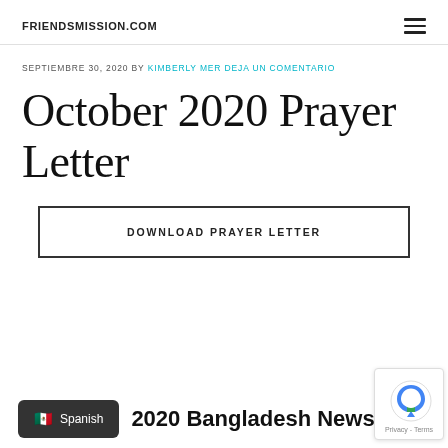FRIENDSMISSION.COM
SEPTIEMBRE 30, 2020 BY KIMBERLY MER DEJA UN COMENTARIO
October 2020 Prayer Letter
DOWNLOAD PRAYER LETTER
Spanish  2020 Bangladesh Newsletter